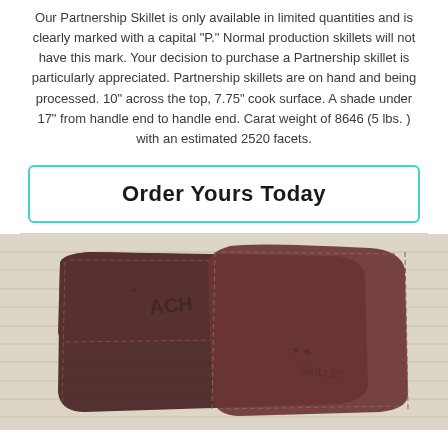Our Partnership Skillet is only available in limited quantities and is clearly marked with a capital "P." Normal production skillets will not have this mark. Your decision to purchase a Partnership skillet is particularly appreciated. Partnership skillets are on hand and being processed. 10" across the top, 7.75" cook surface. A shade under 17" from handle end to handle end. Carat weight of 8646 (5 lbs. ) with an estimated 2520 facets.
Order Yours Today
[Figure (photo): Two dark brown leather skillet handle holders with stitched edges and embossed logo (partially showing 'ACH'), laid on a light wood surface.]